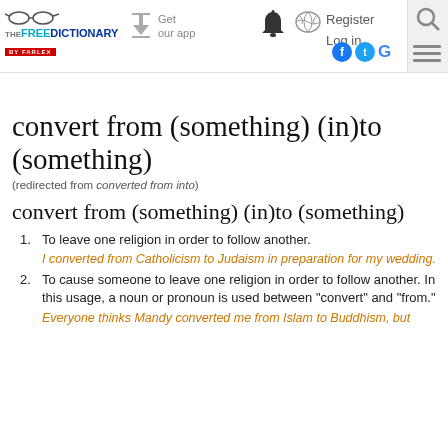[Figure (logo): The Free Dictionary by Farlex logo with glasses icon, download/get app button, bell icon, brain icon, Register/Log in links, social media icons (Facebook, Twitter, Google), and search icon]
convert from (something) (in)to (something)
(redirected from converted from into)
convert from (something) (in)to (something)
1. To leave one religion in order to follow another.
I converted from Catholicism to Judaism in preparation for my wedding.
2. To cause someone to leave one religion in order to follow another. In this usage, a noun or pronoun is used between "convert" and "from."
Everyone thinks Mandy converted me from Islam to Buddhism, but